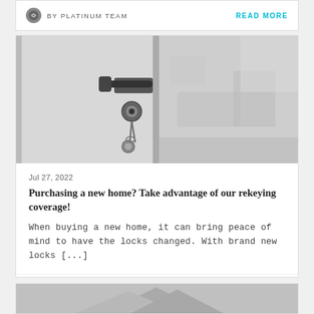BY PLATINUM TEAM  READ MORE
[Figure (photo): Black and white photo of a door lock with keys inserted, blurred living room in background]
Jul 27, 2022
Purchasing a new home? Take advantage of our rekeying coverage!
When buying a new home, it can bring peace of mind to have the locks changed. With brand new locks [...]
BY PLATINUM TEAM  READ MORE
[Figure (photo): Partially visible image at bottom of page]